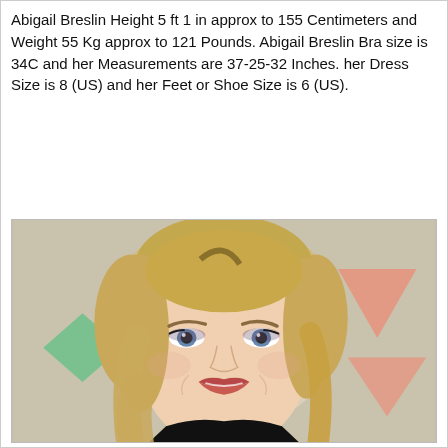Abigail Breslin Height 5 ft 1 in approx to 155 Centimeters and Weight 55 Kg approx to 121 Pounds. Abigail Breslin Bra size is 34C and her Measurements are 37-25-32 Inches. her Dress Size is 8 (US) and her Feet or Shoe Size is 6 (US).
[Figure (photo): Photo of Abigail Breslin, a young blonde woman smiling, wearing dark top, with geometric triangle and arrow shapes in the background]